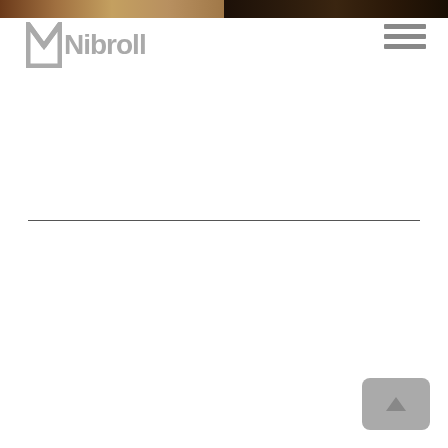[Figure (photo): Two-panel banner image at the top of the page: left panel shows a warm brownish-tan scene, right panel shows a dark brownish scene with figures/objects]
[Figure (logo): Nibroll logo with stylized 'N' icon and gray 'Nibroll' wordmark text]
[Figure (other): Hamburger menu icon with three horizontal dark gray bars in the top right corner]
[Figure (other): Horizontal divider line across the page width in the middle section]
[Figure (other): Scroll-to-top button in the bottom right: gray rounded rectangle with an upward-pointing triangle arrow]